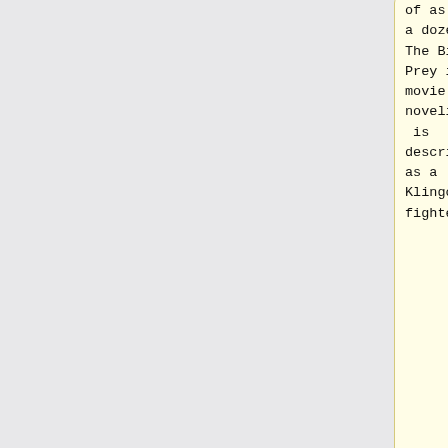of as about a dozen. The Bird of Prey in the movie novelization is described as a Klingon fighter.
for Spock]]''). [[Sulu]] verified that the crew compliment of as about a dozen. The Bird of Prey in the movie novelization is described as a Klingon fighter.
===''K'Vort'
===Cruiser